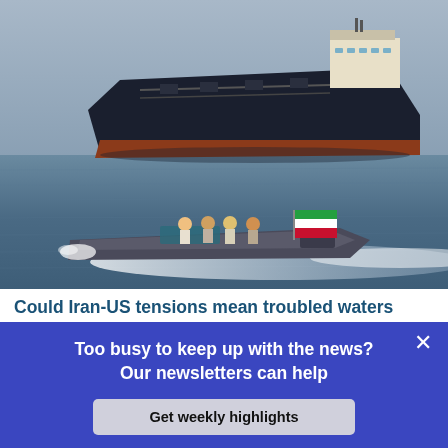[Figure (photo): A large dark oil tanker ship on grey-blue ocean water in the upper portion. In the lower portion, an Iranian military speedboat with several personnel and an Iranian flag speeds through the water creating a white wake, with the large tanker visible in the background.]
Could Iran-US tensions mean troubled waters
Too busy to keep up with the news? Our newsletters can help
Get weekly highlights